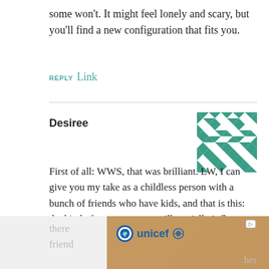some won't. It might feel lonely and scary, but you'll find a new configuration that fits you.
REPLY Link
Desiree
[Figure (illustration): Green and white decorative pixel/quilt pattern avatar icon]
First of all: WWS, that was brilliant. LW, I can give you my take as a childless person with a bunch of friends who have kids, and that is this: the kind of parent you are will partially influence how your friendships do or don't change. All of my friends with kids are really awesome and involved parents. However, one of my female friends with kids hasn't maintained enough individuality for me to feel like there friend her
[Figure (photo): Unicef advertisement banner showing children in green hats smiling]